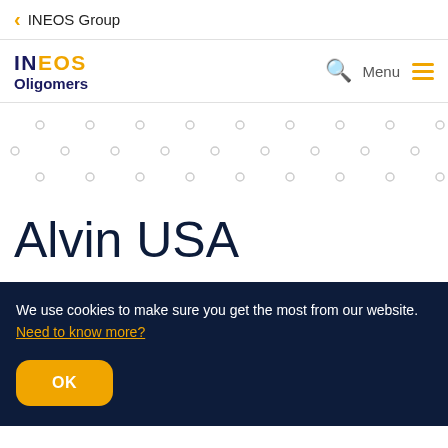< INEOS Group
[Figure (logo): INEOS Oligomers logo with search icon and menu hamburger]
[Figure (illustration): Decorative dot grid pattern background]
Alvin USA
We use cookies to make sure you get the most from our website. Need to know more?
OK